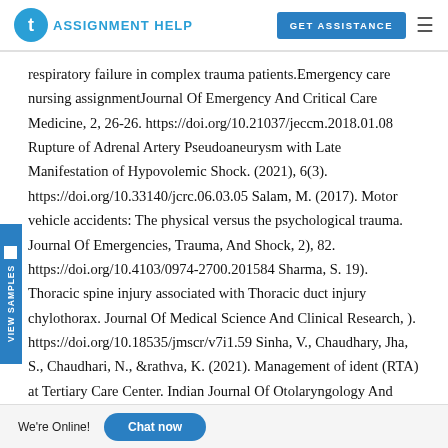TAssignmentHelp | GET ASSISTANCE
respiratory failure in complex trauma patients.Emergency care nursing assignmentJournal Of Emergency And Critical Care Medicine, 2, 26-26. https://doi.org/10.21037/jeccm.2018.01.08 Rupture of Adrenal Artery Pseudoaneurysm with Late Manifestation of Hypovolemic Shock. (2021), 6(3). https://doi.org/10.33140/jcrc.06.03.05 Salam, M. (2017). Motor vehicle accidents: The physical versus the psychological trauma. Journal Of Emergencies, Trauma, And Shock, 2), 82. https://doi.org/10.4103/0974-2700.201584 Sharma, S. 19). Thoracic spine injury associated with Thoracic duct injury chylothorax. Journal Of Medical Science And Clinical Research, ). https://doi.org/10.18535/jmscr/v7i1.59 Sinha, V., Chaudhary, Jha, S., Chaudhari, N., &rathva, K. (2021). Management of ident (RTA) at Tertiary Care Center. Indian Journal Of Otolaryngology And Head & Neck